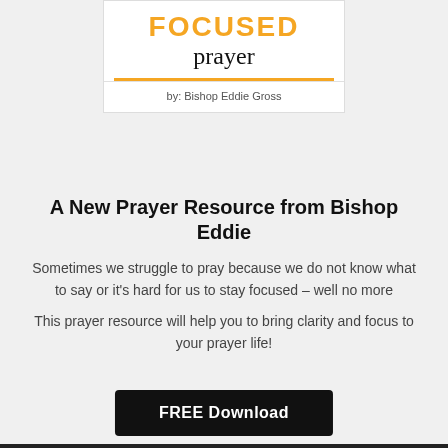[Figure (illustration): Book cover for 'FOCUSED prayer' by Bishop Eddie Gross, showing the word FOCUSED in orange bold uppercase letters and 'prayer' in black serif below, with an orange horizontal line separator and author line.]
A New Prayer Resource from Bishop Eddie
Sometimes we struggle to pray because we do not know what to say or it's hard for us to stay focused – well no more
This prayer resource will help you to bring clarity and focus to your prayer life!
FREE Download